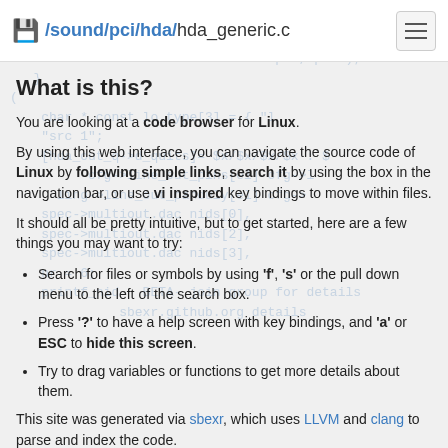/sound/pci/hda/hda_generic.c
What is this?
You are looking at a code browser for Linux.
By using this web interface, you can navigate the source code of Linux by following simple links, search it by using the box in the navigation bar, or use vi inspired key bindings to move within files.
It should all be pretty intuitive, but to get started, here are a few things you may want to try:
Search for files or symbols by using 'f', 's' or the pull down menu to the left of the search box.
Press '?' to have a help screen with key bindings, and 'a' or ESC to hide this screen.
Try to drag variables or functions to get more details about them.
This site was generated via sbexr, which uses LLVM and clang to parse and index the code.
sbexr is free software (as in "free speech"), under heavy development, sbexr.github.org and the Linux kernel source code...